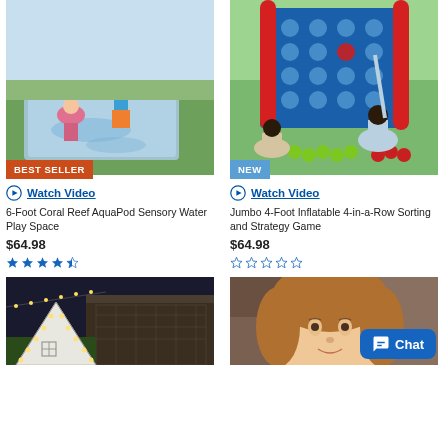[Figure (photo): Two children playing on a blue water splash pad in a backyard. Badge: BEST SELLER.]
Watch Video
6-Foot Coral Reef AquaPod Sensory Water Play Space
$64.98
4.5 stars
[Figure (photo): Two children sitting on grass playing with a large inflatable 4-in-a-row game. Badge: NEW.]
Watch Video
Jumbo 4-Foot Inflatable 4-in-a-Row Sorting and Strategy Game
$64.98
0 stars
[Figure (photo): Outdoor white tent/playhouse with string lights at night.]
[Figure (photo): Young girl with curly hair, with a Chat button overlay.]